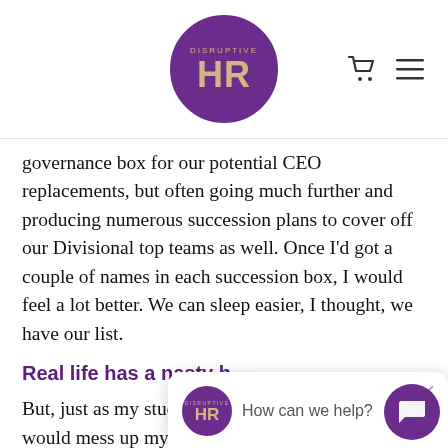Disruptive HR logo with navigation icons
governance box for our potential CEO replacements, but often going much further and producing numerous succession plans to cover off our Divisional top teams as well. Once I'd got a couple of names in each succession box, I would feel a lot better. We can sleep easier, I thought, we have our list.
Real life has a nasty h...
But, just as my students... our identified successors would mess up my succession plans.  They would leave. They wouldn't be willing to relocate. They would struggle with additional